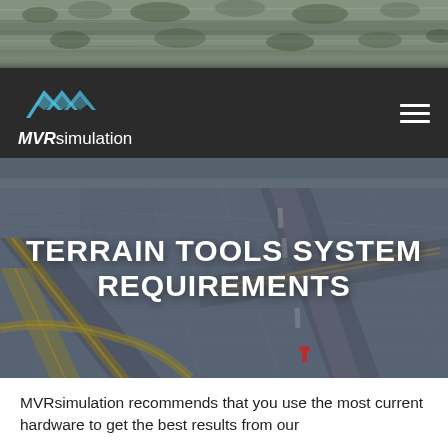[Figure (photo): Aerial/satellite view of terrain with trees and landscape, grayscale, at the top of the page as a banner photo]
[Figure (logo): MVRsimulation logo: blue geometric mountain/wave shape above the text 'MVRsimulation' in white, on dark background]
TERRAIN TOOLS SYSTEM REQUIREMENTS
[Figure (photo): Aerial simulation view of airport/airfield with runways, taxiways, yellow markings and grid terrain, used as hero background image]
MVRsimulation recommends that you use the most current hardware to get the best results from our